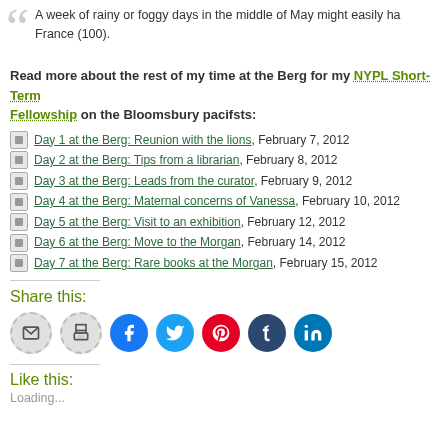A week of rainy or foggy days in the middle of May might easily ha... France (100).
Read more about the rest of my time at the Berg for my NYPL Short-Term Fellowship on the Bloomsbury pacifsts:
Day 1 at the Berg: Reunion with the lions, February 7, 2012
Day 2 at the Berg: Tips from a librarian, February 8, 2012
Day 3 at the Berg: Leads from the curator, February 9, 2012
Day 4 at the Berg: Maternal concerns of Vanessa, February 10, 2012
Day 5 at the Berg: Visit to an exhibition, February 12, 2012
Day 6 at the Berg: Move to the Morgan, February 14, 2012
Day 7 at the Berg: Rare books at the Morgan, February 15, 2012
Share this:
[Figure (infographic): Share buttons: email, print, Facebook, Twitter, Pinterest, Tumblr, LinkedIn]
Like this:
Loading...